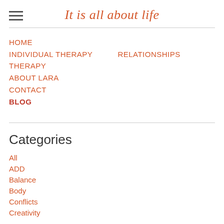It is all about life
HOME
INDIVIDUAL THERAPY
RELATIONSHIPS THERAPY
ABOUT LARA
CONTACT
BLOG
Categories
All
ADD
Balance
Body
Conflicts
Creativity